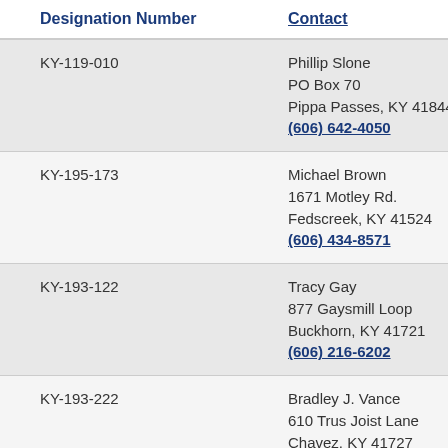| Designation Number | Contact | C |
| --- | --- | --- |
| KY-119-010 | Phillip Slone
PO Box 70
Pippa Passes, KY 41844
(606) 642-4050 | M |
| KY-195-173 | Michael Brown
1671 Motley Rd.
Fedscreek, KY 41524
(606) 434-8571 | M |
| KY-193-122 | Tracy Gay
877 Gaysmill Loop
Buckhorn, KY 41721
(606) 216-6202 | M |
| KY-193-222 | Bradley J. Vance
610 Trus Joist Lane
Chavez, KY 41727 | M |